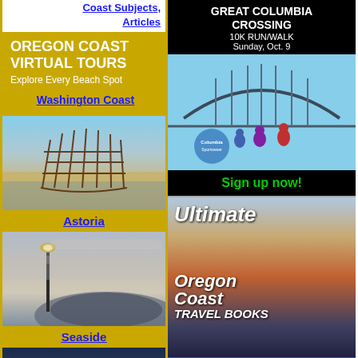Coast Subjects, Articles
[Figure (illustration): Oregon Coast Virtual Tours banner with gold background, white text 'OREGON COAST VIRTUAL TOURS Explore Every Beach Spot', and Washington Coast link]
[Figure (photo): Shipwreck skeleton at low tide, Astoria area]
Astoria
[Figure (photo): Lighthouse lamp post silhouette against cloudy sky at dusk, Seaside area]
Seaside
[Figure (photo): Coastal sunset scene with dark silhouette foreground]
[Figure (illustration): Great Columbia Crossing 10K Run/Walk ad, Sunday Oct. 9, with bridge and runners photo, Sign up now button]
[Figure (illustration): Ultimate Oregon Coast Travel Books ad with sunset beach background]
[Figure (illustration): Seashore Inn on the Beach advertisement with blue background]